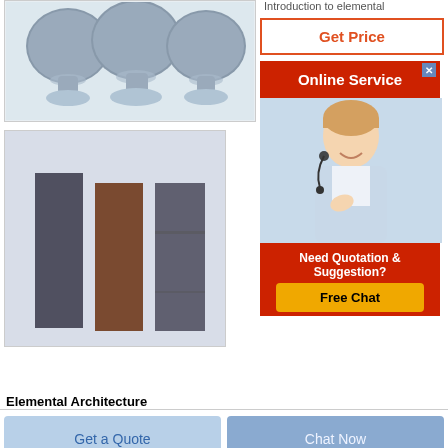[Figure (photo): Three blue-grey powder balls or spherical containers with flat bases, product photo on white background]
[Figure (photo): Three rectangular material samples - dark grey, brown, dark grey - with Rongsheng logo in top left corner]
Elemental Architecture
Introduction to elemental
[Figure (screenshot): Get Price button with orange-red border and text]
[Figure (screenshot): Online Service banner in red with close button, agent photo, Need Quotation & Suggestion text, Free Chat button in yellow]
[Figure (screenshot): Get a Quote button in light blue]
[Figure (screenshot): Chat Now button in medium blue]